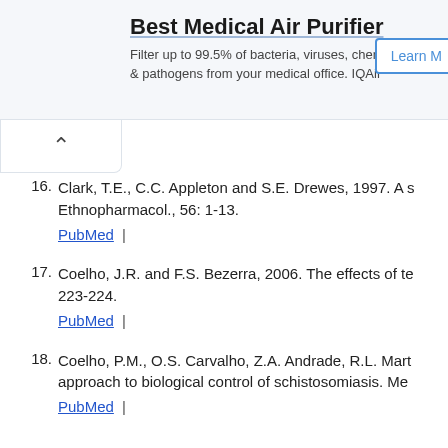[Figure (other): Advertisement banner for Best Medical Air Purifier by IQAir with a Learn More button]
16. Clark, T.E., C.C. Appleton and S.E. Drewes, 1997. A s... Ethnopharmacol., 56: 1-13. PubMed |
17. Coelho, J.R. and F.S. Bezerra, 2006. The effects of te... 223-224. PubMed |
18. Coelho, P.M., O.S. Carvalho, Z.A. Andrade, R.L. Mart... approach to biological control of schistosomiasis. Me... PubMed |